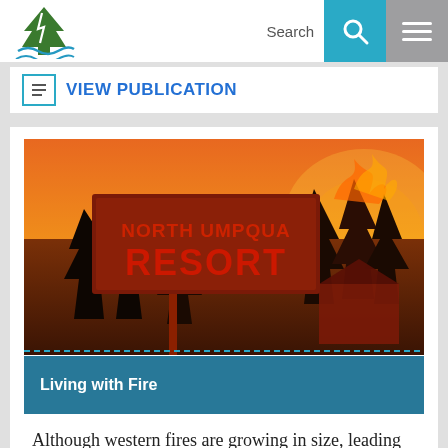[Figure (logo): Forest / tree and water waves logo icon in green and blue]
Search
[Figure (other): Search icon (magnifying glass) in white on teal/cyan background]
[Figure (other): Hamburger menu icon (three horizontal white lines) on gray background]
VIEW PUBLICATION
[Figure (photo): Wildfire scene at dusk/night showing a 'North Umpqua Resort' sign silhouetted against an orange sky with trees and flames in the background]
Living with Fire
Although western fires are growing in size, leading to more frequent 'megafire events,'